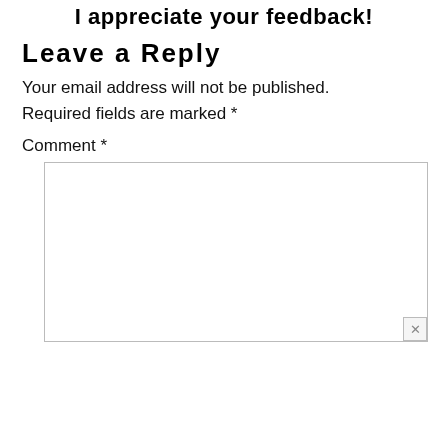I appreciate your feedback!
Leave a Reply
Your email address will not be published. Required fields are marked *
Comment *